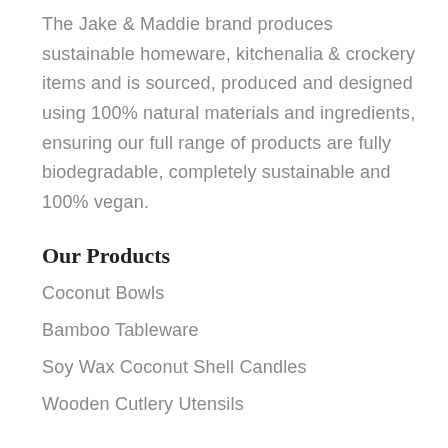The Jake & Maddie brand produces sustainable homeware, kitchenalia & crockery items and is sourced, produced and designed using 100% natural materials and ingredients, ensuring our full range of products are fully biodegradable, completely sustainable and 100% vegan.
Our Products
Coconut Bowls
Bamboo Tableware
Soy Wax Coconut Shell Candles
Wooden Cutlery Utensils